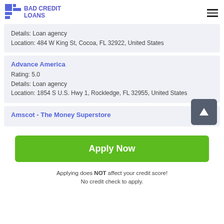BAD CREDIT LOANS
Details: Loan agency
Location: 484 W King St, Cocoa, FL 32922, United States
Advance America
Rating: 5.0
Details: Loan agency
Location: 1854 S U.S. Hwy 1, Rockledge, FL 32955, United States
Amscot - The Money Superstore
Apply Now
Applying does NOT affect your credit score!
No credit check to apply.